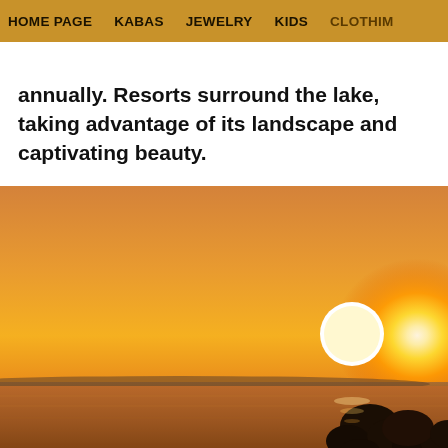HOME PAGE   KABAS   JEWELRY   KIDS   CLOTHIM
annually. Resorts surround the lake, taking advantage of its landscape and captivating beauty.
[Figure (photo): Sunset over a lake with a large glowing sun on the right side, warm orange and golden sky, silhouette of trees in the bottom right corner, calm water in the foreground.]